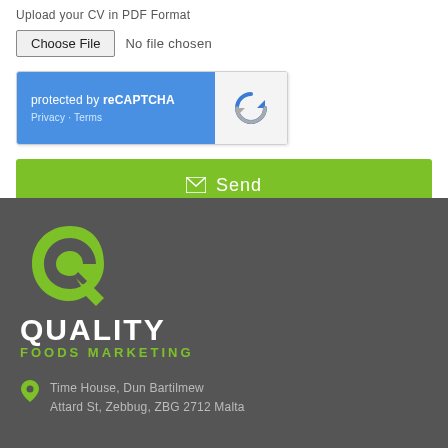Upload your CV in PDF Format
[Figure (screenshot): File input widget showing 'Choose File' button and 'No file chosen' text]
[Figure (screenshot): reCAPTCHA widget with blue left panel ('protected by reCAPTCHA', 'Privacy - Terms') and grey right panel with recycled arrows icon]
[Figure (screenshot): Green 'Send' button with envelope icon]
[Figure (logo): Quality Foods Marketing logo: green Q-shaped icon, white QUALITY text, green FOODS MARKETING text on dark grey background]
Time House, Dun Bartilmew
Attard St, Zebbug, ZBG 2712 Malta